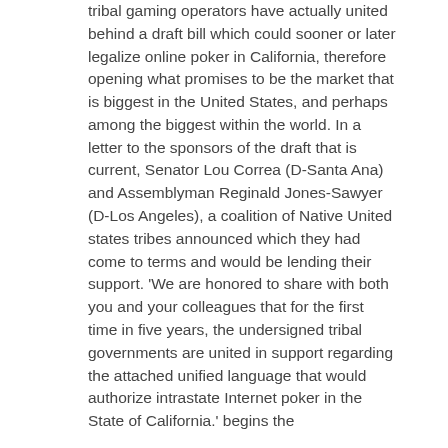tribal gaming operators have actually united behind a draft bill which could sooner or later legalize online poker in California, therefore opening what promises to be the market that is biggest in the United States, and perhaps among the biggest within the world. In a letter to the sponsors of the draft that is current, Senator Lou Correa (D-Santa Ana) and Assemblyman Reginald Jones-Sawyer (D-Los Angeles), a coalition of Native United states tribes announced which they had come to terms and would be lending their support. 'We are honored to share with both you and your colleagues that for the first time in five years, the undersigned tribal governments are united in support regarding the attached unified language that would authorize intrastate Internet poker in the State of California.' begins the